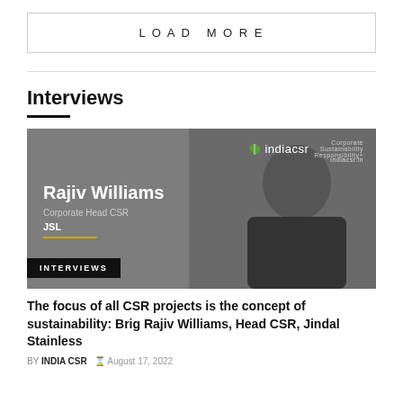LOAD MORE
Interviews
[Figure (photo): Profile photo of Rajiv Williams, Corporate Head CSR, JSL, on a grey background with IndiaCSR logo in the top right corner and an INTERVIEWS badge in the bottom left.]
The focus of all CSR projects is the concept of sustainability: Brig Rajiv Williams, Head CSR, Jindal Stainless
BY INDIA CSR  Ø August 17, 2022